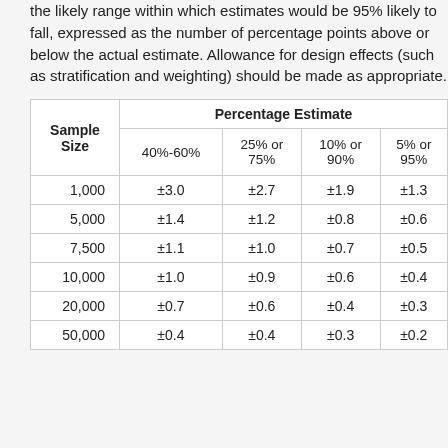the likely range within which estimates would be 95% likely to fall, expressed as the number of percentage points above or below the actual estimate. Allowance for design effects (such as stratification and weighting) should be made as appropriate.
| Sample Size | 40%-60% | 25% or 75% | 10% or 90% | 5% or 95% |
| --- | --- | --- | --- | --- |
| 1,000 | ±3.0 | ±2.7 | ±1.9 | ±1.3 |
| 5,000 | ±1.4 | ±1.2 | ±0.8 | ±0.6 |
| 7,500 | ±1.1 | ±1.0 | ±0.7 | ±0.5 |
| 10,000 | ±1.0 | ±0.9 | ±0.6 | ±0.4 |
| 20,000 | ±0.7 | ±0.6 | ±0.4 | ±0.3 |
| 50,000 | ±0.4 | ±0.4 | ±0.3 | ±0.2 |